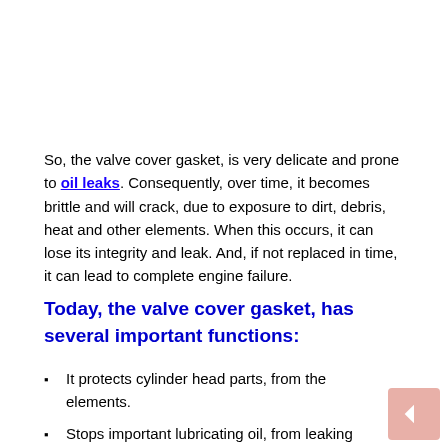So, the valve cover gasket, is very delicate and prone to oil leaks. Consequently, over time, it becomes brittle and will crack, due to exposure to dirt, debris, heat and other elements. When this occurs, it can lose its integrity and leak. And, if not replaced in time, it can lead to complete engine failure.
Today, the valve cover gasket, has several important functions:
It protects cylinder head parts, from the elements.
Stops important lubricating oil, from leaking externally.
Controls air leaks, to help promote proper (PCV) operation.